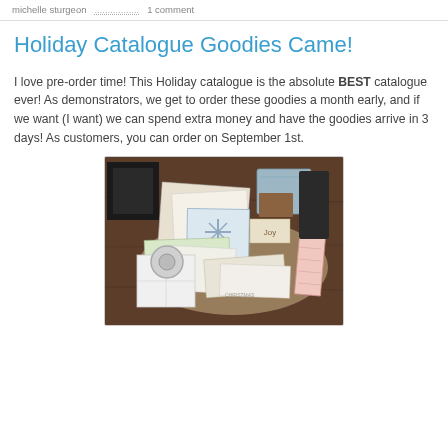michelle sturgeon  ................ 1 comment
Holiday Catalogue Goodies Came!
I love pre-order time! This Holiday catalogue is the absolute BEST catalogue ever! As demonstrators, we get to order these goodies a month early, and if we want (I want) we can spend extra money and have the goodies arrive in 3 days! As customers, you can order on September 1st.
[Figure (photo): Photo of a pile of Holiday catalogue craft supplies and goodies spread out on a dark wooden table, including stamp sets, papers, ribbons, bags, and other craft items.]